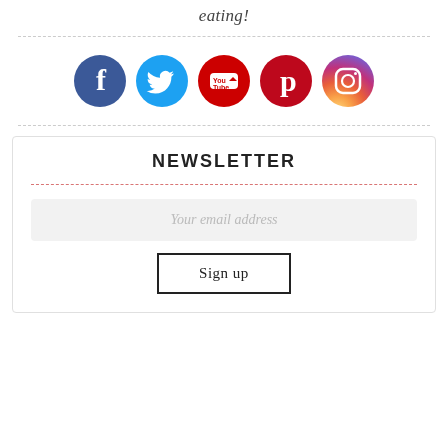eating!
[Figure (illustration): Five social media icons in circles: Facebook (dark blue), Twitter (light blue), YouTube (red with white play button), Pinterest (dark red), Instagram (gradient purple-orange)]
NEWSLETTER
Your email address
Sign up